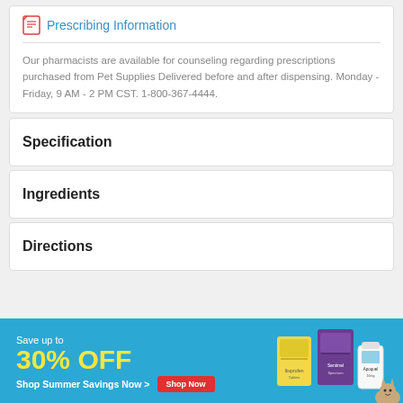Prescribing Information
Our pharmacists are available for counseling regarding prescriptions purchased from Pet Supplies Delivered before and after dispensing. Monday - Friday, 9 AM - 2 PM CST. 1-800-367-4444.
Specification
Ingredients
Directions
[Figure (infographic): Promotional banner: Save up to 30% OFF - Shop Summer Savings Now > with Shop Now button, pet product images on right side]